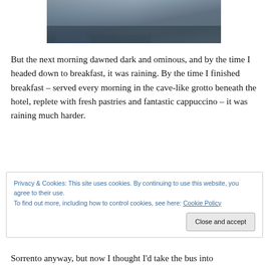[Figure (photo): Outdoor street/waterfront scene on a rainy day, with boats and market stalls visible]
But the next morning dawned dark and ominous, and by the time I headed down to breakfast, it was raining. By the time I finished breakfast – served every morning in the cave-like grotto beneath the hotel, replete with fresh pastries and fantastic cappuccino – it was raining much harder.
Privacy & Cookies: This site uses cookies. By continuing to use this website, you agree to their use.
To find out more, including how to control cookies, see here: Cookie Policy
Close and accept
Sorrento anyway, but now I thought I'd take the bus into